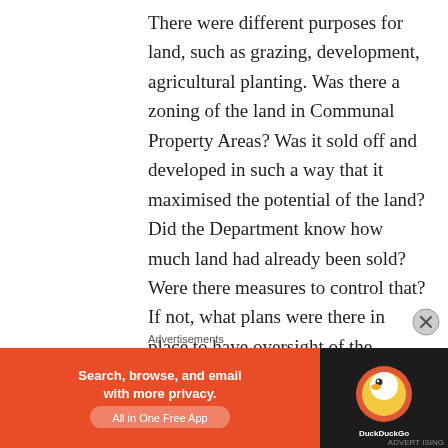There were different purposes for land, such as grazing, development, agricultural planting. Was there a zoning of the land in Communal Property Areas? Was it sold off and developed in such a way that it maximised the potential of the land? Did the Department know how much land had already been sold? Were there measures to control that? If not, what plans were there in place to have oversight of the process of sub-division?
There was a reference to 60% of the
Advertisements
[Figure (other): DuckDuckGo advertisement banner with orange background. Text reads: Search, browse, and email with more privacy. All in One Free App. DuckDuckGo logo on dark background on the right side.]